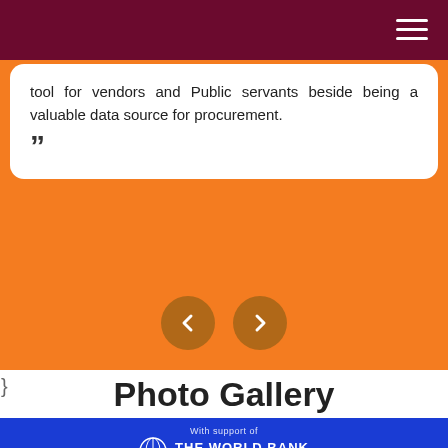≡
tool for vendors and Public servants beside being a valuable data source for procurement. ”
[Figure (infographic): Two circular navigation arrow buttons (previous and next) on an orange background for a carousel/slider.]
}
Photo Gallery
[Figure (photo): Photo from a procurement summit event. Blue backdrop reads 'THE WORLD BANK IBRD-IDA | WORLD BANK GROUP' and 'AL PROCUREMENT SUMMIT - Procurement in 21st Century'. Several panelists and AIMA logos visible.]